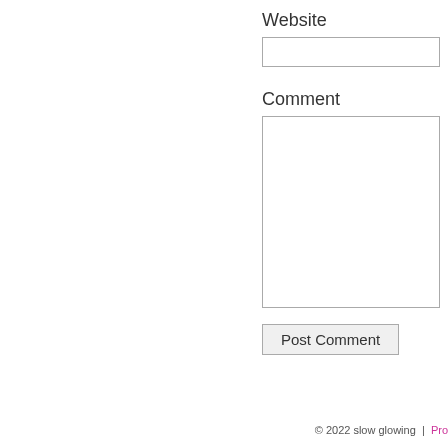Website
Comment
Post Comment
© 2022 slow glowing  |  Pro